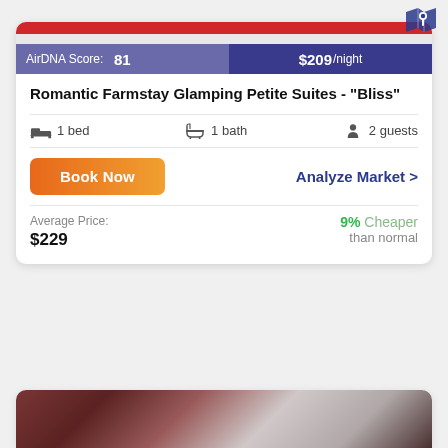[Figure (screenshot): Map icon in top right corner showing a location pin on a map]
[Figure (screenshot): Property listing card showing AirDNA Score bar with score 81 and price $209/night, with red/white striped trailer image above]
Romantic Farmstay Glamping Petite Suites - "Bliss"
1 bed   1 bath   2 guests
Book Now
Analyze Market >
Average Price: $229
9% Cheaper than normal
[Figure (photo): Partial photo of a second property listing showing dark wooden door panels]